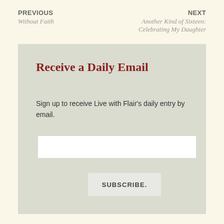PREVIOUS
Without Faith
NEXT
Another Kind of Sixteen: Celebrating My Daughter
Receive a Daily Email
Sign up to receive Live with Flair's daily entry by email.
[Figure (other): Email input text field (white rectangle)]
SUBSCRIBE.